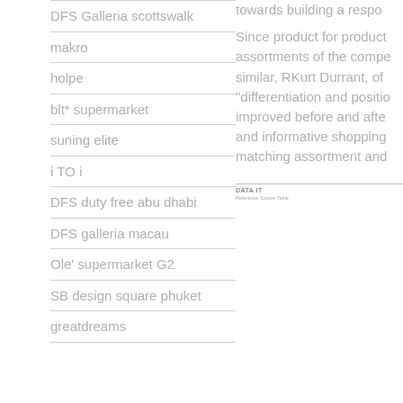DFS Galleria scottswalk
makro
holpe
blt* supermarket
suning elite
i TO i
DFS duty free abu dhabi
DFS galleria macau
Ole' supermarket G2
SB design square phuket
greatdreams
towards building a respo
Since product for product assortments of the compe similar, RKurt Durrant, of “differentiation and positio improved before and afte and informative shopping matching assortment and
[Figure (other): DATA IT section with title and subtitle line]